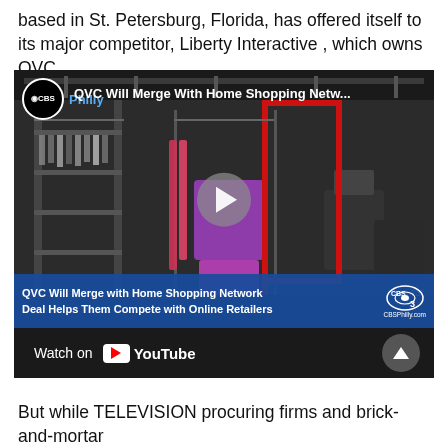based in St. Petersburg, Florida, has offered itself to its major competitor, Liberty Interactive , which owns QVC.
[Figure (screenshot): CBS Philly news video thumbnail showing 'QVC Will Merge With Home Shopping Netw...' headline with warehouse background, play button, news lower-third bar reading 'QVC Will Merge with Home Shopping Network / Deal Helps Them Compete with Online Retailers', CBS3 logo, timestamp 5:40 73°, and YouTube watch bar at bottom.]
But while TELEVISION procuring firms and brick-and-mortar